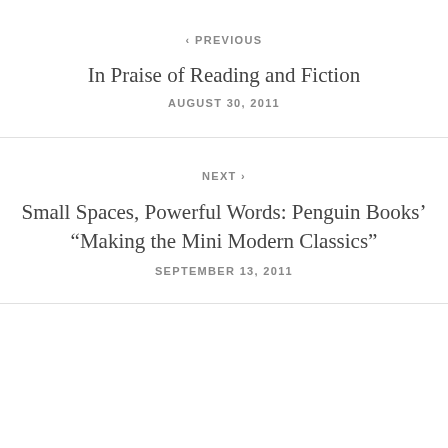< PREVIOUS
In Praise of Reading and Fiction
AUGUST 30, 2011
NEXT >
Small Spaces, Powerful Words: Penguin Books’ “Making the Mini Modern Classics”
SEPTEMBER 13, 2011